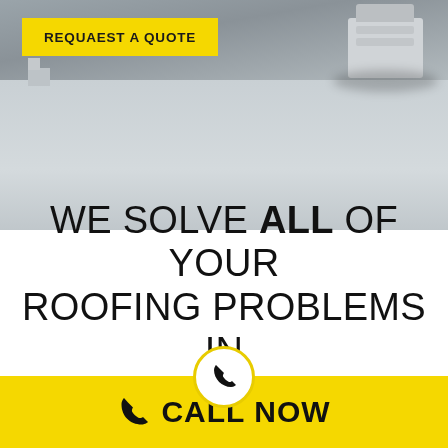[Figure (photo): Aerial view of a flat commercial rooftop with HVAC unit visible in upper right, grey surface, overcast lighting]
REQUAEST A QUOTE
WE SOLVE ALL OF YOUR ROOFING PROBLEMS IN WESTERN NY
CALL NOW